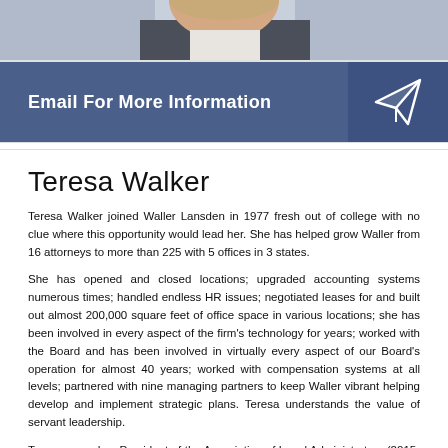[Figure (photo): Portrait photo of Teresa Walker, showing the lower portion of her face and shoulders, wearing a dark blazer]
[Figure (infographic): Blue banner bar with text 'Email For More Information' and a paper airplane icon on the right side]
Teresa Walker
Teresa Walker joined Waller Lansden in 1977 fresh out of college with no clue where this opportunity would lead her. She has helped grow Waller from 16 attorneys to more than 225 with 5 offices in 3 states.
She has opened and closed locations; upgraded accounting systems numerous times; handled endless HR issues; negotiated leases for and built out almost 200,000 square feet of office space in various locations; she has been involved in every aspect of the firm's technology for years; worked with the Board and has been involved in virtually every aspect of our Board's operation for almost 40 years; worked with compensation systems at all levels; partnered with nine managing partners to keep Waller vibrant helping develop and implement strategic plans. Teresa understands the value of servant leadership.
Teresa served as President of the Association of Legal Administrators (2015-2016) and served on the Executive Committee of its Board of